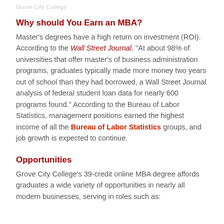Grove City College
Why should You Earn an MBA?
Master's degrees have a high return on investment (ROI). According to the Wall Street Journal, "At about 98% of universities that offer master's of business administration programs, graduates typically made more money two years out of school than they had borrowed, a Wall Street Journal analysis of federal student loan data for nearly 600 programs found." According to the Bureau of Labor Statistics, management positions earned the highest income of all the Bureau of Labor Statistics groups, and job growth is expected to continue.
Opportunities
Grove City College's 39-credit online MBA degree affords graduates a wide variety of opportunities in nearly all modern businesses, serving in roles such as: